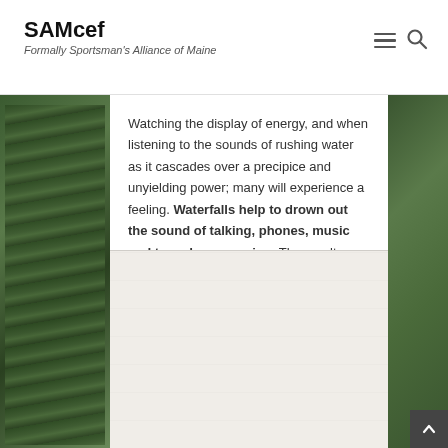SAMcef — Formally Sportsman's Alliance of Maine
Watching the display of energy, and when listening to the sounds of rushing water as it cascades over a precipice and unyielding power; many will experience a feeling. Waterfalls help to drown out the sound of talking, phones, music and tv and are amazing. The results from this form of nature photography are highly prized among nature photographers and are rewarding artistic. This nature photography technique will bring in a feeling of fun and enjoying that brings back childhood feelings of joy and happiness, and requires practice with many settings.
[Figure (photo): Placeholder image area — light beige/cream colored rectangular block at the bottom of the content column, appears to be an embedded image placeholder]